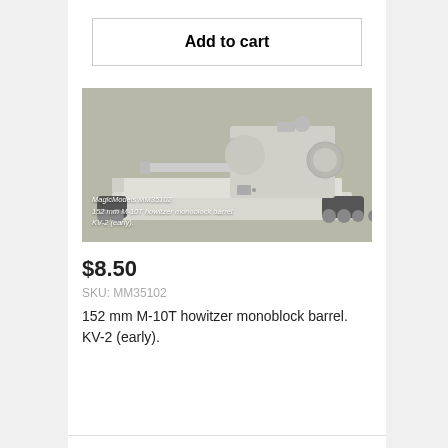Add to cart
[Figure (photo): White/grey scale model of a KV-2 tank turret (early) with 152mm M-10T howitzer monoblock barrel, shown at an angle. Watermark text: MagicModels MM35102, 152 mm M-10T howitzer monoblock barrel. KV-2 (early).]
$8.50
SKU: MM35102
152 mm M-10T howitzer monoblock barrel. KV-2 (early).